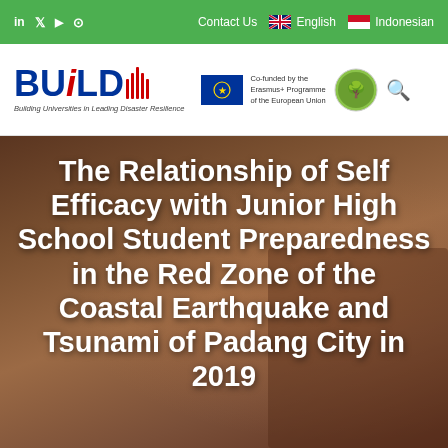in  Twitter  YouTube  Instagram  Contact Us  English  Indonesian
[Figure (logo): BUILD logo - Building Universities in Leading Disaster Resilience, with EU Erasmus+ co-funding badge]
The Relationship of Self Efficacy with Junior High School Student Preparedness in the Red Zone of the Coastal Earthquake and Tsunami of Padang City in 2019